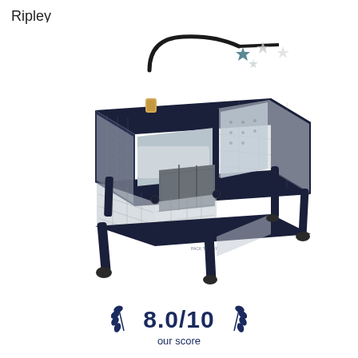Ripley
[Figure (photo): A Graco Pack 'n Play baby playard in Ripley colorway (dark navy/grey), featuring a removable bassinet, changing station, toy mobile with star decorations on a curved black arm, organizer pouch on the side, mesh sides, and wheeled legs.]
8.0/10 our score